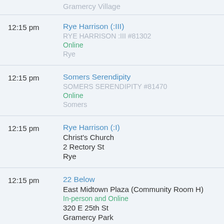12:15 pm | Rye Harrison (:III) | RYE HARRISON :III #81302 | Online | Rye
12:15 pm | Somers Serendipity | SOMERS SERENDIPITY #81470 | Online | Somers
12:15 pm | Rye Harrison (:I) | Christ's Church | 2 Rectory St | Rye
12:15 pm | 22 Below | East Midtown Plaza (Community Room H) | In-person and Online | 320 E 25th St | Gramercy Park